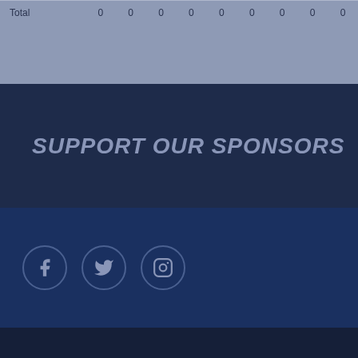| Total | 0 | 0 | 0 | 0 | 0 | 0 | 0 | 0 | 0 |
SUPPORT OUR SPONSORS
[Figure (other): Social media icons: Facebook, Twitter, Instagram circles]